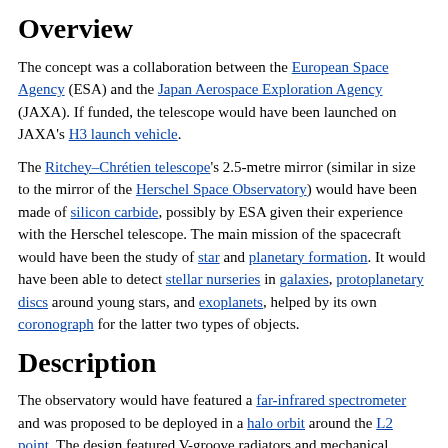Overview
The concept was a collaboration between the European Space Agency (ESA) and the Japan Aerospace Exploration Agency (JAXA). If funded, the telescope would have been launched on JAXA's H3 launch vehicle.
The Ritchey–Chrétien telescope's 2.5-metre mirror (similar in size to the mirror of the Herschel Space Observatory) would have been made of silicon carbide, possibly by ESA given their experience with the Herschel telescope. The main mission of the spacecraft would have been the study of star and planetary formation. It would have been able to detect stellar nurseries in galaxies, protoplanetary discs around young stars, and exoplanets, helped by its own coronograph for the latter two types of objects.
Description
The observatory would have featured a far-infrared spectrometer and was proposed to be deployed in a halo orbit around the L2 point. The design featured V-groove radiators and mechanical cryocoolers rather than liquid helium to cool the mirror to below 8 K (−265.15 °C)[2] (…the 80 K…